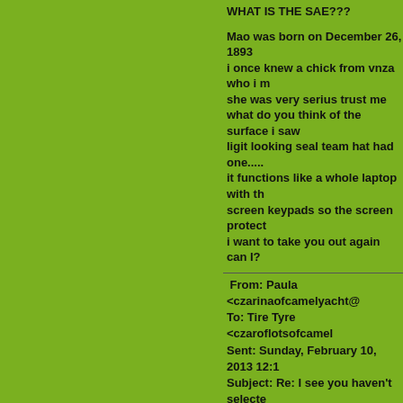WHAT IS THE SAE???
Mao was born on December 26, 1893 i once knew a chick from vnza who i r she was very serius trust me what do you think of the surface i saw ligit looking seal team hat had one..... it functions like a whole laptop with th screen keypads so the screen protect i want to take you out again can I?
From: Paula <czarinaofcamelyacht@
To: Tire Tyre <czaroflotsofcamel
Sent: Sunday, February 10, 2013 12:1
Subject: Re: I see you haven't selecte
How do you know Mao, when she live Costco?
But when I described her, you knew w

Sirius is where some of the others co

And should couldn't have been born i the glance I had of her.

No need to shout; you know perfectly you need to refresh who your fellow B

http://frozenfiefdom.com/who_is_wha

If you wanted to take me out for lund